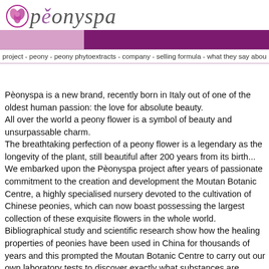[Figure (logo): Peonyspa logo with stylized pink flower symbol and italic text 'peonyspa']
project - peony - peony phytoextracts - company - selling formula - what they say abou
Pèonyspa is a new brand, recently born in Italy out of one of the oldest human passion: the love for absolute beauty.
All over the world a peony flower is a symbol of beauty and unsurpassable charm.
The breathtaking perfection of a peony flower is a legendary as the longevity of the plant, still beautiful after 200 years from its birth...
We embarked upon the Pèonyspa project after years of passionate commitment to the creation and development the Moutan Botanic Centre, a highly specialised nursery devoted to the cultivation of Chinese peonies, which can now boast possessing the largest collection of these exquisite flowers in the whole world.
Bibliographical study and scientific research show how the healing properties of peonies have been used in China for thousands of years and this prompted the Moutan Botanic Centre to carry out our own laboratory tests to discover exactly what substances are present in the roots of these plants and to establish what their properties are.
The trade-mark Pèonyspa means peonies, grace, beauty, well-being and scientific innovation, all fused together to create a unique line of cosmetics with a style which is essentially modern, yet which payseferential front to traditional values.